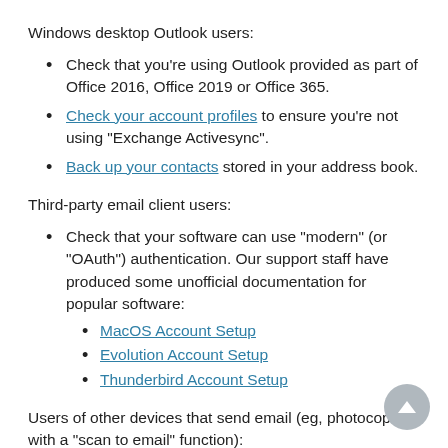Windows desktop Outlook users:
Check that you're using Outlook provided as part of Office 2016, Office 2019 or Office 365.
Check your account profiles to ensure you're not using "Exchange Activesync".
Back up your contacts stored in your address book.
Third-party email client users:
Check that your software can use "modern" (or "OAuth") authentication. Our support staff have produced some unofficial documentation for popular software:
MacOS Account Setup
Evolution Account Setup
Thunderbird Account Setup
Users of other devices that send email (eg, photocopiers with a "scan to email" function):